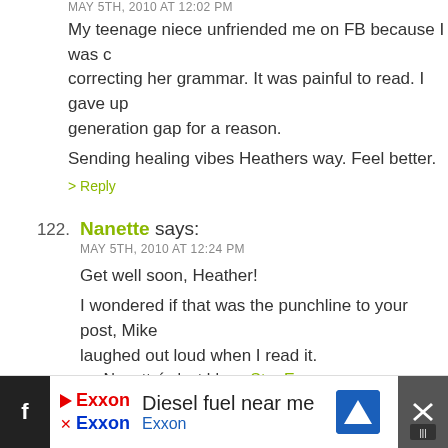MAY 5TH, 2010 AT 12:02 PM
My teenage niece unfriended me on FB because I was correcting her grammar. It was painful to read. I gave up. generation gap for a reason.
Sending healing vibes Heathers way. Feel better.
> Reply
122. Nanette says:
MAY 5TH, 2010 AT 12:24 PM
Get well soon, Heather!
I wondered if that was the punchline to your post, Mike. laughed out loud when I read it.
.-= Nanette´s last blog ..Star Ems =-.
> Reply
123. Diane says:
MAY 5TH, 2010 AT 12:34 PM
Thanks for this post, Mike. I feel better knowing that I
[Figure (other): Advertisement bar at bottom: Exxon logo, text 'Diesel fuel near me', blue navigation icon, close button]